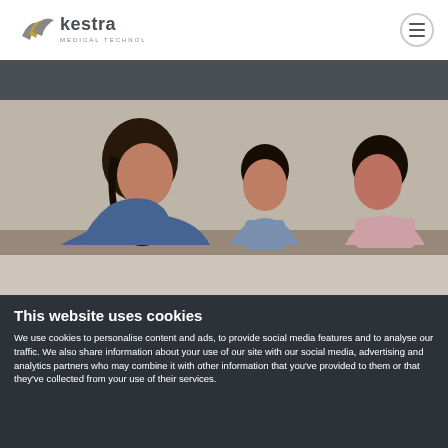[Figure (logo): Kestra Medical Technologies logo with stylized yellow/gray wing mark and company name]
[Figure (photo): A woman leaning over two young children, looking down together at something, warm family scene]
This website uses cookies
We use cookies to personalise content and ads, to provide social media features and to analyse our traffic. We also share information about your use of our site with our social media, advertising and analytics partners who may combine it with other information that you've provided to them or that they've collected from your use of their services.